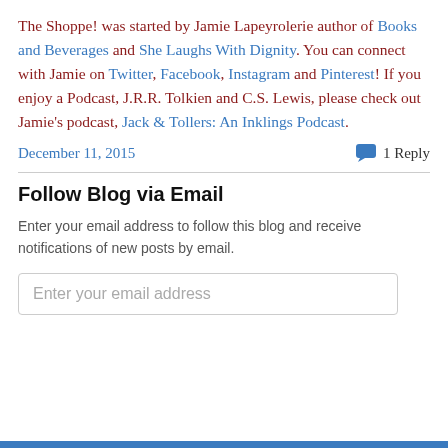The Shoppe! was started by Jamie Lapeyrolerie author of Books and Beverages and She Laughs With Dignity. You can connect with Jamie on Twitter, Facebook, Instagram and Pinterest! If you enjoy a Podcast, J.R.R. Tolkien and C.S. Lewis, please check out Jamie's podcast, Jack & Tollers: An Inklings Podcast.
December 11, 2015    1 Reply
Follow Blog via Email
Enter your email address to follow this blog and receive notifications of new posts by email.
Enter your email address